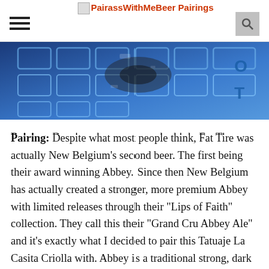PairassWithMeBeerPairings
[Figure (photo): Close-up photo of a blue and white mosaic or tile-like surface with dark stains and debris, likely a Tatuaje La Casita Criolla cigar and New Belgium beer pairing article hero image.]
Pairing: Despite what most people think, Fat Tire was actually New Belgium's second beer. The first being their award winning Abbey. Since then New Belgium has actually created a stronger, more premium Abbey with limited releases through their “Lips of Faith” collection. They call this their “Grand Cru Abbey Ale” and it’s exactly what I decided to pair this Tatuaje La Casita Criolla with. Abbey is a traditional strong, dark ale perfected by Belgium Trappist Monks, and in my opinion, one of the best brew styles available. With a malty flavor with nice Banana, Caramel, and Lemon hints its hard to believe that he beer boasts a 9.5% ABV. The sweet, creamy style of the beer blended perfectly with the smoothness of this cigar. It really made for a